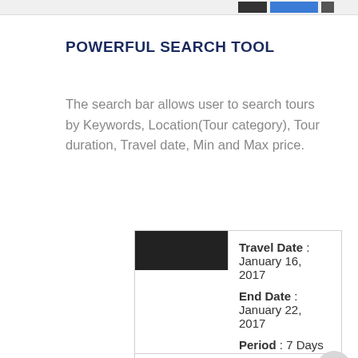POWERFUL SEARCH TOOL
The search bar allows user to search tours by Keywords, Location(Tour category), Tour duration, Travel date, Min and Max price.
[Figure (screenshot): A UI card showing travel booking details: Travel Date: January 16, 2017, End Date: January 22, 2017, Period: 7 Days, Room 1 Adult: 1 Children: 0, and a promo code input field with '10Pspecial' and an Apply button.]